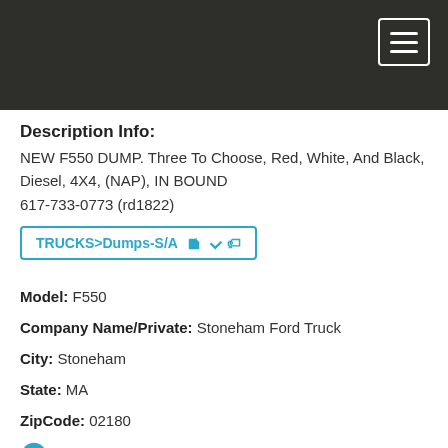Description Info:
NEW F550 DUMP. Three To Choose, Red, White, And Black, Diesel, 4X4, (NAP), IN BOUND
617-733-0773 (rd1822)
TRUCKS>Dumps-S/A
Model: F550
Company Name/Private: Stoneham Ford Truck
City: Stoneham
State: MA
ZipCode: 02180
Phone: 617-733-0773
Website: view our site
Email: